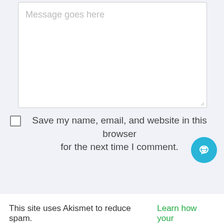[Figure (screenshot): A textarea input field with placeholder text 'Message goes here' and a resize handle at bottom right]
Save my name, email, and website in this browser for the next time I comment.
Post Comment
[Figure (other): Teal/cyan circular chat bubble icon in bottom right corner]
This site uses Akismet to reduce spam. Learn how your